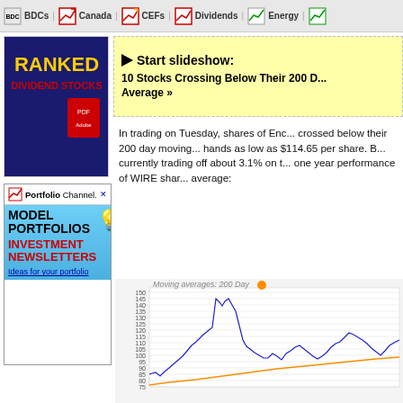BDCs | Canada | CEFs | Dividends | Energy
[Figure (screenshot): Ranked Dividend Stocks ad with PDF icon]
[Figure (screenshot): Yellow slideshow box: Start slideshow: 10 Stocks Crossing Below Their 200 Day Average]
[Figure (screenshot): Portfolio Channel ad: Model Portfolios Investment Newsletters - Ideas for your portfolio]
In trading on Tuesday, shares of Enc... crossed below their 200 day moving... hands as low as $114.65 per share. B... currently trading off about 3.1% on t... one year performance of WIRE sha... average:
[Figure (line-chart): Line chart showing WIRE stock price (blue line) and 200-day moving average (orange line). Y-axis from 75 to 150. Stock price rises from ~85 to peak ~147 then declines. Moving average rises steadily from ~78 to ~103.]